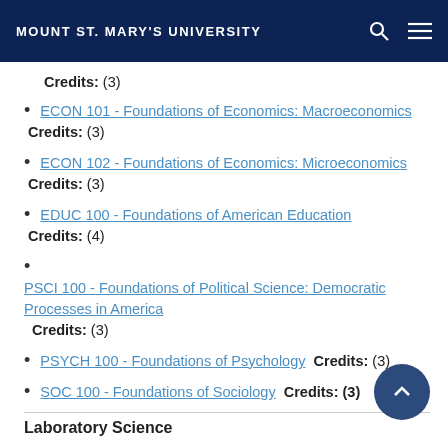MOUNT ST. MARY'S UNIVERSITY
Credits: (3)
ECON 101 - Foundations of Economics: Macroeconomics Credits: (3)
ECON 102 - Foundations of Economics: Microeconomics Credits: (3)
EDUC 100 - Foundations of American Education Credits: (4)
PSCI 100 - Foundations of Political Science: Democratic Processes in America Credits: (3)
PSYCH 100 - Foundations of Psychology Credits: (3)
SOC 100 - Foundations of Sociology Credits: (3)
Laboratory Science